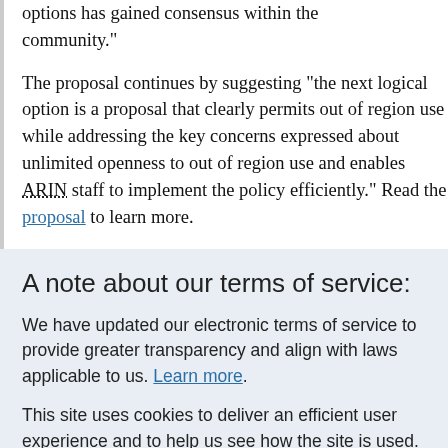options has gained consensus within the community."

The proposal continues by suggesting "the next logical option is a proposal that clearly permits out of region use while addressing the key concerns expressed about unlimited openness to out of region use and enables ARIN staff to implement the policy efficiently." Read the proposal to learn more.
A note about our terms of service:
We have updated our electronic terms of service to provide greater transparency and align with laws applicable to us. Learn more.
This site uses cookies to deliver an efficient user experience and to help us see how the site is used. Learn more.  OK